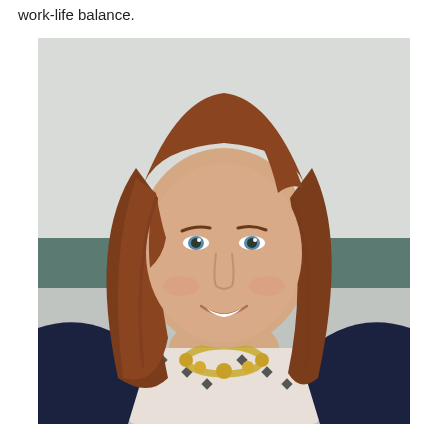work-life balance.
[Figure (photo): Professional headshot of a woman with shoulder-length reddish-brown hair, smiling, wearing a dark navy blazer over a patterned blouse with a gold statement necklace. Background is light grey/teal outdoor setting.]